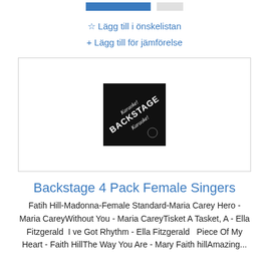☆ Lägg till i önskelistan
+ Lägg till för jämförelse
[Figure (logo): Backstage Karaoke product logo — black square with white stylized text reading 'Karaoke! BACKSTAGE Karaoke!' in a diagonal/rotated style]
Backstage 4 Pack Female Singers
Fatih Hill-Madonna-Female Standard-Maria Carey Hero - Maria CareyWithout You - Maria CareyTisket A Tasket, A - Ella Fitzgerald  I ve Got Rhythm - Ella Fitzgerald   Piece Of My Heart - Faith HillThe Way You Are - Mary Faith hillAmazing...